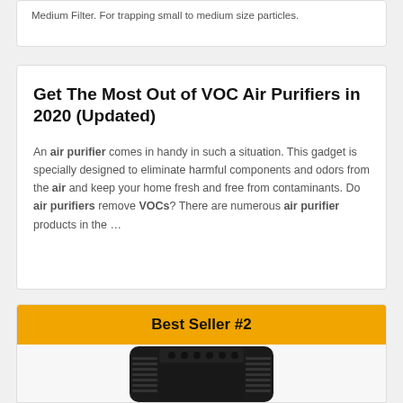Medium Filter. For trapping small to medium size particles.
Get The Most Out of VOC Air Purifiers in 2020 (Updated)
An air purifier comes in handy in such a situation. This gadget is specially designed to eliminate harmful components and odors from the air and keep your home fresh and free from contaminants. Do air purifiers remove VOCs? There are numerous air purifier products in the …
Best Seller #2
[Figure (photo): Black air purifier product photo]